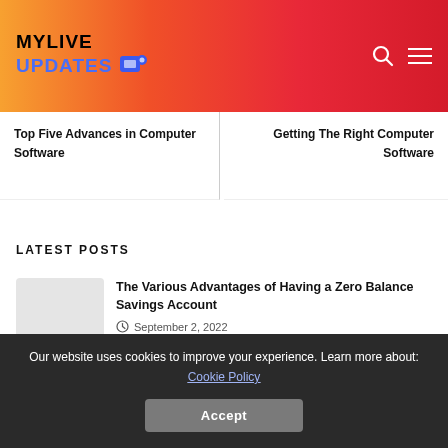MYLIVE UPDATES
Top Five Advances in Computer Software
Getting The Right Computer Software
LATEST POSTS
The Various Advantages of Having a Zero Balance Savings Account
September 2, 2022
Internet Marketing Business – The New Home
Our website uses cookies to improve your experience. Learn more about: Cookie Policy
Accept